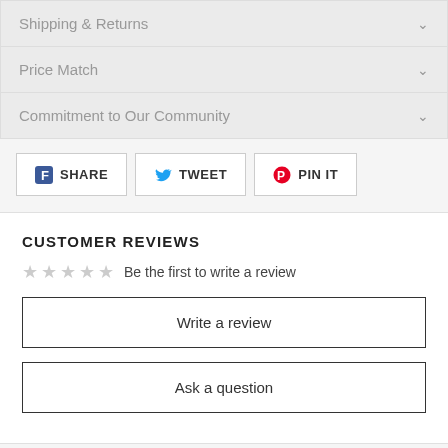Shipping & Returns
Price Match
Commitment to Our Community
SHARE  TWEET  PIN IT
CUSTOMER REVIEWS
Be the first to write a review
Write a review
Ask a question
YOU MAY ALSO LIKE